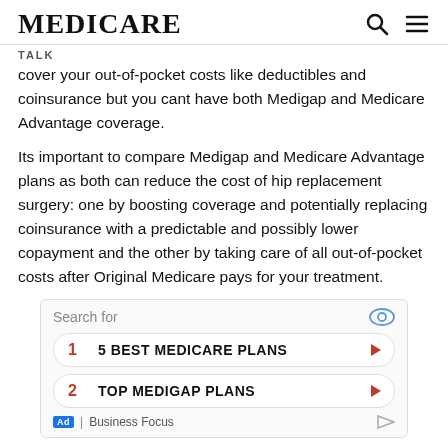MEDICARE
TALK
cover your out-of-pocket costs like deductibles and coinsurance but you cant have both Medigap and Medicare Advantage coverage.
Its important to compare Medigap and Medicare Advantage plans as both can reduce the cost of hip replacement surgery: one by boosting coverage and potentially replacing coinsurance with a predictable and possibly lower copayment and the other by taking care of all out-of-pocket costs after Original Medicare pays for your treatment.
[Figure (other): Advertisement widget with search bar and two list items: 1. 5 BEST MEDICARE PLANS, 2. TOP MEDIGAP PLANS. Ad label shown with Business Focus branding.]